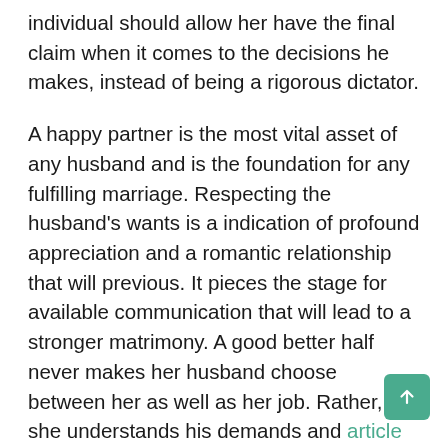individual should allow her have the final claim when it comes to the decisions he makes, instead of being a rigorous dictator.
A happy partner is the most vital asset of any husband and is the foundation for any fulfilling marriage. Respecting the husband's wants is a indication of profound appreciation and a romantic relationship that will previous. It pieces the stage for available communication that will lead to a stronger matrimony. A good better half never makes her husband choose between her as well as her job. Rather, she understands his demands and article source wants and provide him the room to make the greatest choices for him and their friends and family.